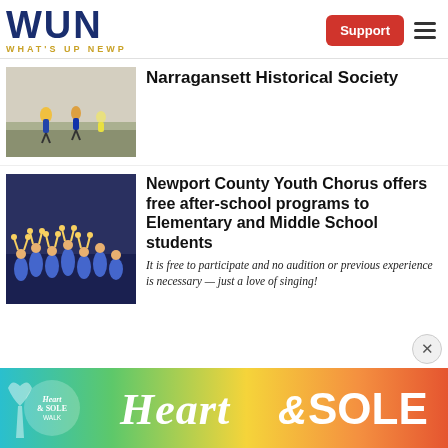WUN — What's Up Newp
[Figure (photo): Runners on a road, race scene with yellow safety vests]
Narragansett Historical Society
[Figure (photo): Children in blue uniforms with arms raised, youth chorus group photo]
Newport County Youth Chorus offers free after-school programs to Elementary and Middle School students
It is free to participate and no audition or previous experience is necessary — just a love of singing!
[Figure (other): Heart & Sole walk banner advertisement with colorful gradient background]